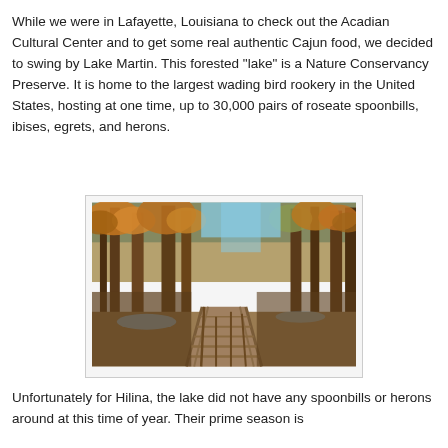While we were in Lafayette, Louisiana to check out the Acadian Cultural Center and to get some real authentic Cajun food, we decided to swing by Lake Martin. This forested "lake" is a Nature Conservancy Preserve. It is home to the largest wading bird rookery in the United States, hosting at one time, up to 30,000 pairs of roseate spoonbills, ibises, egrets, and herons.
[Figure (photo): A wooden boardwalk path extending through a forested swamp/wetland area. Tall cypress trees with autumn orange and brown foliage line the boardwalk. Blue sky visible through the treetops.]
Unfortunately for Hilina, the lake did not have any spoonbills or herons around at this time of year. Their prime season is